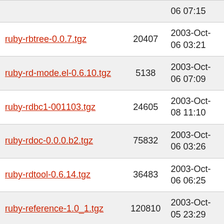| Name | Size | Date |
| --- | --- | --- |
| [partial top row] |  | 06 07:15 |
| ruby-rbtree-0.0.7.tgz | 20407 | 2003-Oct-06 03:21 |
| ruby-rd-mode.el-0.6.10.tgz | 5138 | 2003-Oct-06 07:09 |
| ruby-rdbc1-001103.tgz | 24605 | 2003-Oct-08 11:10 |
| ruby-rdoc-0.0.0.b2.tgz | 75832 | 2003-Oct-06 03:26 |
| ruby-rdtool-0.6.14.tgz | 36483 | 2003-Oct-06 06:25 |
| ruby-reference-1.0_1.tgz | 120810 | 2003-Oct-05 23:29 |
| ruby-rexml-2.4.8.tgz | 179080 | 2003-Oct-06 03:26 |
| ruby-rfilter-0.10.tgz | 45600 | 2003-Oct-06 05:16 |
| ruby-ri-0.8a.tgz | 103477 | 2003-Oct-06 03:20 |
| ruby-rica-0.9.tgz | 81443 | 2003-Oct-06 03:32 |
| ruby-rice-0.0.0.2.tgz | 13554 | 2003-Oct- |